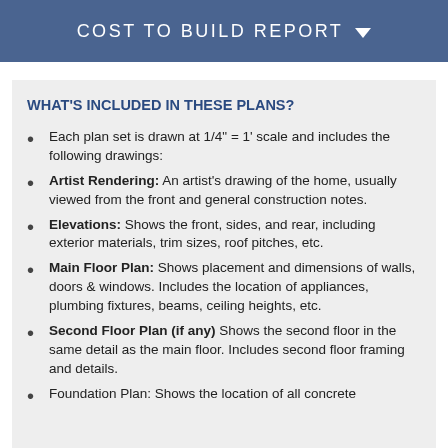COST TO BUILD REPORT
WHAT'S INCLUDED IN THESE PLANS?
Each plan set is drawn at 1/4" = 1' scale and includes the following drawings:
Artist Rendering: An artist's drawing of the home, usually viewed from the front and general construction notes.
Elevations: Shows the front, sides, and rear, including exterior materials, trim sizes, roof pitches, etc.
Main Floor Plan: Shows placement and dimensions of walls, doors & windows. Includes the location of appliances, plumbing fixtures, beams, ceiling heights, etc.
Second Floor Plan (if any) Shows the second floor in the same detail as the main floor. Includes second floor framing and details.
Foundation Plan: Shows the location of all concrete...